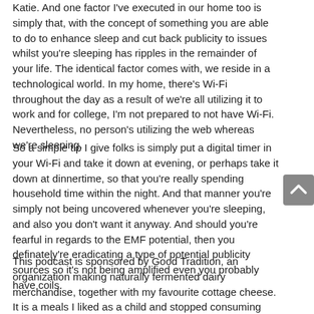Katie. And one factor I've executed in our home too is simply that, with the concept of something you are able to do to enhance sleep and cut back publicity to issues whilst you're sleeping has ripples in the remainder of your life. The identical factor comes with, we reside in a technological world. In my home, there's Wi-Fi throughout the day as a result of we're all utilizing it to work and for college, I'm not prepared to not have Wi-Fi. Nevertheless, no person's utilizing the web whereas we're sleeping.
So a simple tip I give folks is simply put a digital timer in your Wi-Fi and take it down at evening, or perhaps take it down at dinnertime, so that you're really spending household time within the night. And that manner you're simply not being uncovered whenever you're sleeping, and also you don't want it anyway. And should you're fearful in regards to the EMF potential, then you definately're eradicating a type of potential publicity sources so it's not being amplified even you probably have coils.
This podcast is sponsored by Good Tradition, an organization making naturally fermented dairy merchandise, together with my favourite cottage cheese. It is a meals I liked as a child and stopped consuming once I